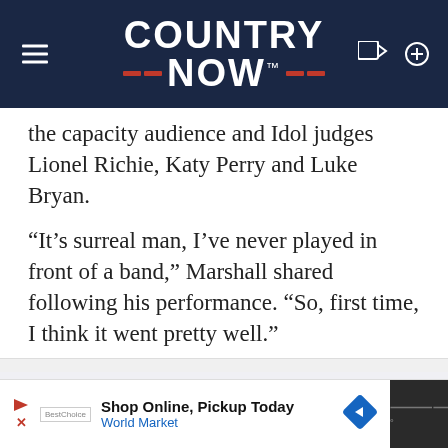COUNTRY NOW
the capacity audience and Idol judges Lionel Richie, Katy Perry and Luke Bryan.
“It’s surreal man, I’ve never played in front of a band,” Marshall shared following his performance. “So, first time, I think it went pretty well.”
[Figure (other): Advertisement banner area (gray box)]
Shop Online, Pickup Today World Market